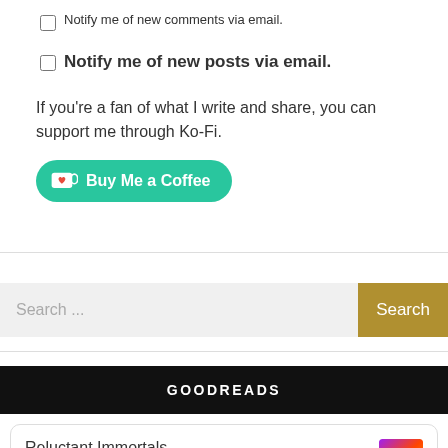Notify me of new comments via email.
Notify me of new posts via email.
If you're a fan of what I write and share, you can support me through Ko-Fi.
[Figure (other): Ko-Fi 'Buy Me a Coffee' button — teal rounded rectangle with coffee cup icon and white bold text]
[Figure (other): Search bar with placeholder 'Search ...' and gold 'Search' button]
GOODREADS
Reluctant Immortals